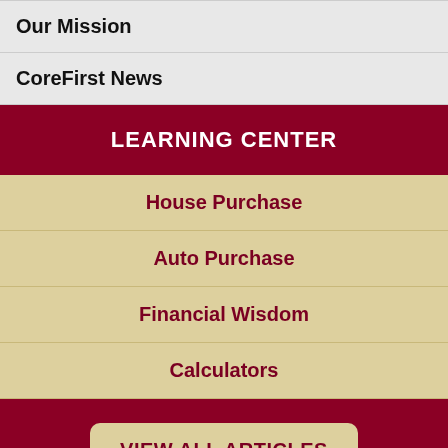Our Mission
CoreFirst News
LEARNING CENTER
House Purchase
Auto Purchase
Financial Wisdom
Calculators
VIEW ALL ARTICLES